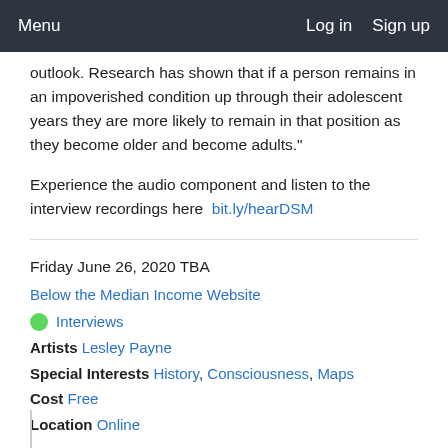Menu   Log in   Sign up
outlook. Research has shown that if a person remains in an impoverished condition up through their adolescent years they are more likely to remain in that position as they become older and become adults."
Experience the audio component and listen to the interview recordings here  bit.ly/hearDSM
Friday June 26, 2020 TBA
Below the Median Income Website
Interviews
Artists Lesley Payne
Special Interests History, Consciousness, Maps
Cost Free
Location Online